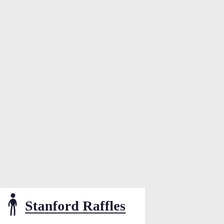[Figure (logo): Stanford Raffles logo: a black silhouette of a standing figure on the left, followed by the text 'Stanford Raffles' in bold serif font with underline, on a white background banner at the bottom-left of the page.]